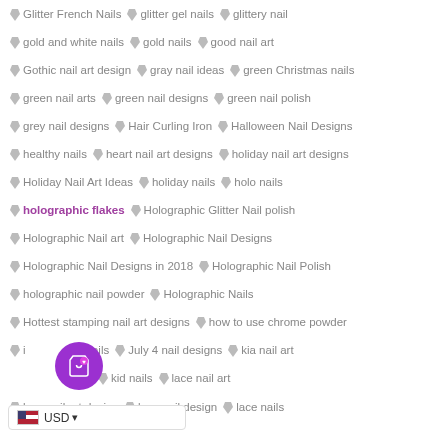Glitter French Nails   glitter gel nails   glittery nail
gold and white nails   gold nails   good nail art
Gothic nail art design   gray nail ideas   green Christmas nails
green nail arts   green nail designs   green nail polish
grey nail designs   Hair Curling Iron   Halloween Nail Designs
healthy nails   heart nail art designs   holiday nail art designs
Holiday Nail Art Ideas   holiday nails   holo nails
holographic flakes   Holographic Glitter Nail polish
Holographic Nail art   Holographic Nail Designs
Holographic Nail Designs in 2018   Holographic Nail Polish
holographic nail powder   Holographic Nails
Hottest stamping nail art designs   how to use chrome powder
i[...]nails   July 4 nail designs   kia nail art
kid nails   lace nail art
lace nail art design   lace nail design   lace nails